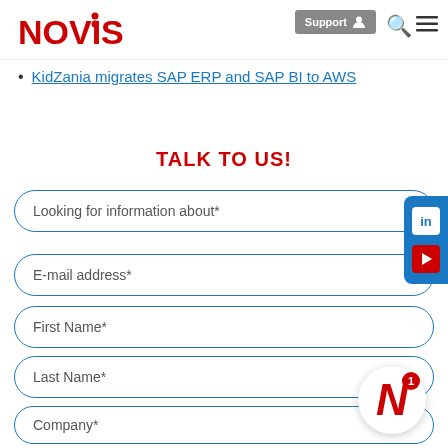[Figure (logo): NOVIS company logo in red with two red dots]
KidZania migrates SAP ERP and SAP BI to AWS
TALK TO US!
Looking for information about*
E-mail address*
First Name*
Last Name*
Company*
Phone number*